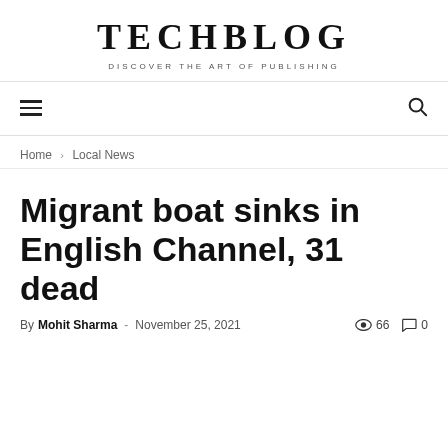TECHBLOG
DISCOVER THE ART OF PUBLISHING
Migrant boat sinks in English Channel, 31 dead
By Mohit Sharma - November 25, 2021  66  0